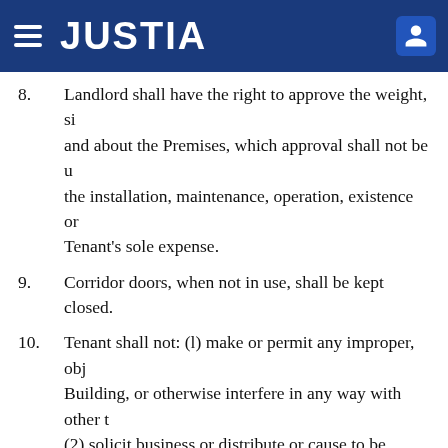JUSTIA
8. Landlord shall have the right to approve the weight, size, and about the Premises, which approval shall not be unreasonably withheld. the installation, maintenance, operation, existence or Tenant's sole expense.
9. Corridor doors, when not in use, shall be kept closed.
10. Tenant shall not: (I) make or permit any improper, objectionable noise or odors in the Building, or otherwise interfere in any way with other tenants or persons having business in the Building; (2) solicit business or distribute or cause to be distributed in or about the Building, any handbills, circulars, promotional materials or other advertising; or (3) conduct or permit other activities in or about the Building that might, in Landlord's sole opinion, constitute a nuisance.
11. No animals, except those assisting disabled persons, and only in strict compliance with Exhibit G, shall be brought into
12. No inflammable, explosive or dangerous fluids or sub...